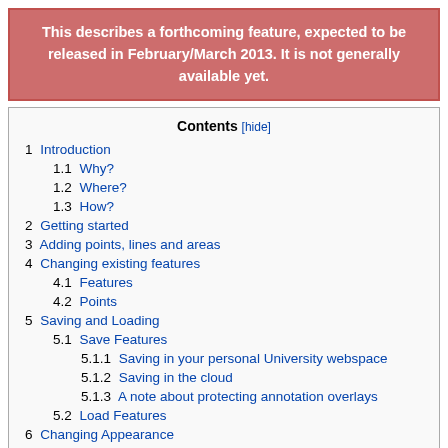This describes a forthcoming feature, expected to be released in February/March 2013. It is not generally available yet.
Contents [hide]
1  Introduction
1.1  Why?
1.2  Where?
1.3  How?
2  Getting started
3  Adding points, lines and areas
4  Changing existing features
4.1  Features
4.2  Points
5  Saving and Loading
5.1  Save Features
5.1.1  Saving in your personal University webspace
5.1.2  Saving in the cloud
5.1.3  A note about protecting annotation overlays
5.2  Load Features
6  Changing Appearance
6.1  Heading